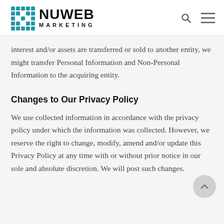NUWEB MARKETING
interest and/or assets are transferred or sold to another entity, we might transfer Personal Information and Non-Personal Information to the acquiring entity.
Changes to Our Privacy Policy
We use collected information in accordance with the privacy policy under which the information was collected. However, we reserve the right to change, modify, amend and/or update this Privacy Policy at any time with or without prior notice in our sole and absolute discretion. We will post such changes.